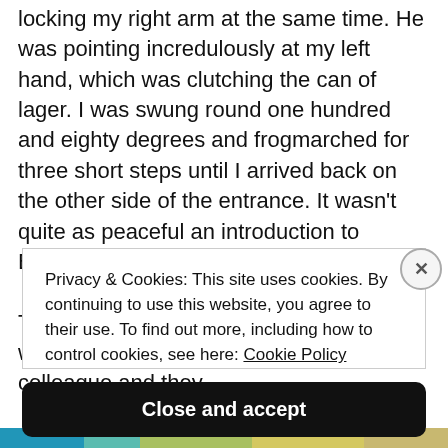locking my right arm at the same time. He was pointing incredulously at my left hand, which was clutching the can of lager. I was swung round one hundred and eighty degrees and frogmarched for three short steps until I arrived back on the other side of the entrance. It wasn't quite as peaceful an introduction to Buddhism as I'd imagined.

The policeman motioned at me to remain where I was. He strutted over to his colleague and they
Privacy & Cookies: This site uses cookies. By continuing to use this website, you agree to their use. To find out more, including how to control cookies, see here: Cookie Policy
Close and accept